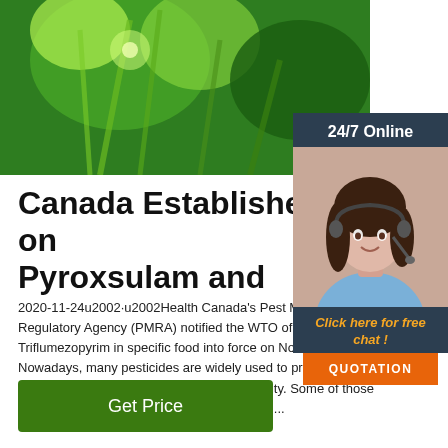[Figure (photo): Close-up photo of green plant foliage/pine needles with bright light]
[Figure (photo): Sidebar with woman wearing headset, 24/7 Online customer service widget with orange QUOTATION button]
Canada Establishes MRLs on Pyroxsulam and
2020-11-24u2002·u2002Health Canada's Pest Management Regulatory Agency (PMRA) notified the WTO of Pyroxsulam and Triflumezopyrim in specific food, into force on November 3, 2020. Nowadays, many pesticides are widely used to prevent crop diseases and increase agricultural productivity. Some of those pesticide compounds are not biodegradable ...
[Figure (logo): TOP icon with orange dotted circle border]
[Figure (other): Get Price green button]